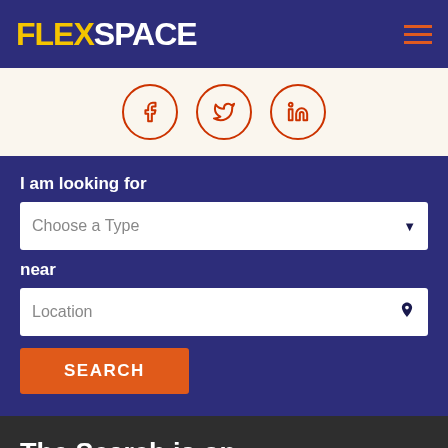FLEXSPACE
[Figure (illustration): Social media icons: Facebook, Twitter, LinkedIn in orange circles on cream background]
I am looking for
Choose a Type
near
Location
SEARCH
The Search is on
Privacy & Cookies